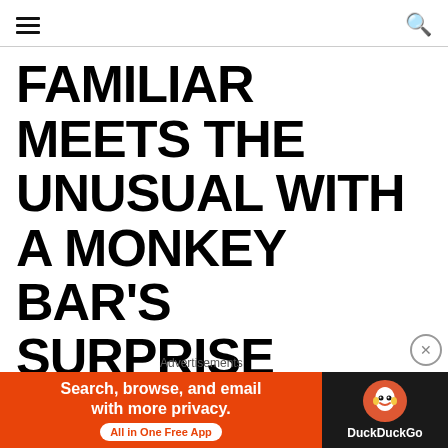≡  🔍
FAMILIAR MEETS THE UNUSUAL WITH A MONKEY BAR'S SURPRISE
Like every year Monkey Bar gears up to celebrate Kolkata's biggest festival Durga Puja with its specially crafted menu Chayna Ochayna. The name suggests
[Figure (screenshot): DuckDuckGo advertisement banner: orange left panel with text 'Search, browse, and email with more privacy. All in One Free App' and dark right panel with DuckDuckGo duck logo and brand name.]
Advertisements